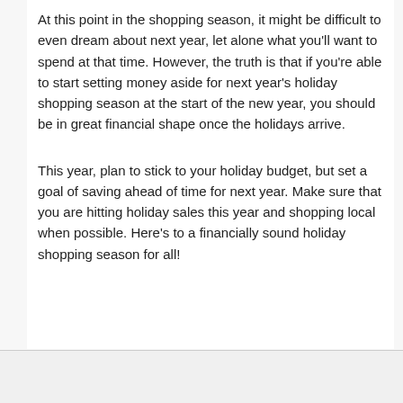At this point in the shopping season, it might be difficult to even dream about next year, let alone what you'll want to spend at that time. However, the truth is that if you're able to start setting money aside for next year's holiday shopping season at the start of the new year, you should be in great financial shape once the holidays arrive.
This year, plan to stick to your holiday budget, but set a goal of saving ahead of time for next year. Make sure that you are hitting holiday sales this year and shopping local when possible. Here's to a financially sound holiday shopping season for all!